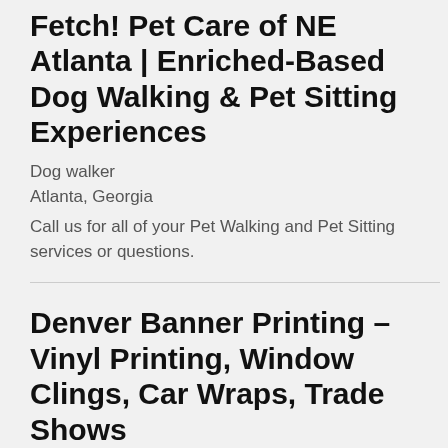Fetch! Pet Care of NE Atlanta | Enriched-Based Dog Walking & Pet Sitting Experiences
Dog walker
Atlanta, Georgia
Call us for all of your Pet Walking and Pet Sitting services or questions.
Denver Banner Printing – Vinyl Printing, Window Clings, Car Wraps, Trade Shows
Flag store
Denver, Colorado
Denver's best sign construction and printing.